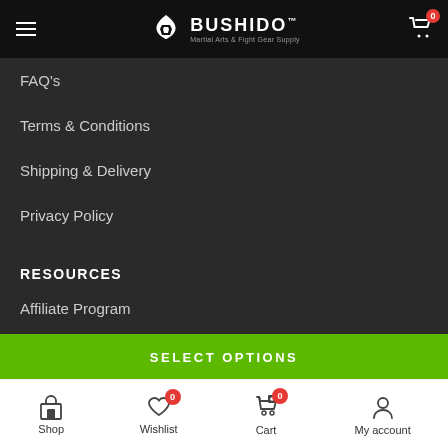Bushido Martial Arts & Fight Gear Supply
FAQ's
Terms & Conditions
Shipping & Delivery
Privacy Policy
RESOURCES
Affiliate Program
Portfolio
Catalog
SELECT OPTIONS
Shop | Wishlist 0 | Cart 0 | My account